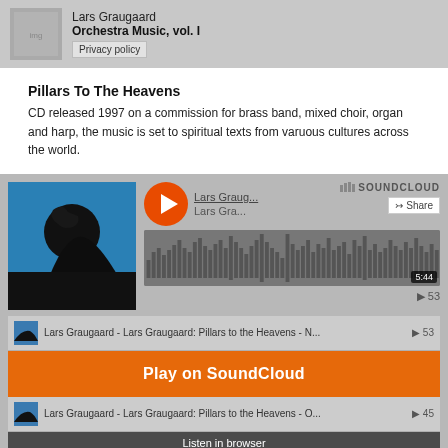[Figure (screenshot): Top bar with album thumbnail, artist name Lars Graugaard, album title Orchestra Music, vol. I, and Privacy policy button]
Lars Graugaard
Orchestra Music, vol. I
Privacy policy
Pillars To The Heavens
CD released 1997 on a commission for brass band, mixed choir, organ and harp, the music is set to spiritual texts from varuous cultures across the world.
[Figure (screenshot): SoundCloud embedded player showing Lars Graugaard Pillars to the Heavens album art, play button, track info, waveform with 5:44 duration, 53 plays, and playlist items with Play on SoundCloud and Listen in browser overlays]